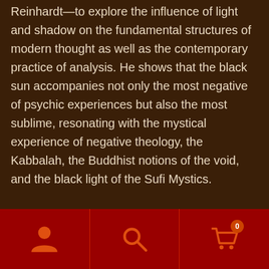Dante's inferno, the black art of Rothko and Reinhardt—to explore the influence of light and shadow on the fundamental structures of modern thought as well as the contemporary practice of analysis. He shows that the black sun accompanies not only the most negative of psychic experiences but also the most sublime, resonating with the mystical experience of negative theology, the Kabbalah, the Buddhist notions of the void, and the black light of the Sufi Mystics.
An important contribution to the understanding of alchemical psychology, this book draws on a postmodern sensibility to develop an original understanding of the black sun, offering insight...
[Figure (other): Bottom navigation bar with three icons: person/account icon on left, search magnifying glass icon in center, shopping cart icon with badge showing 0 on right]